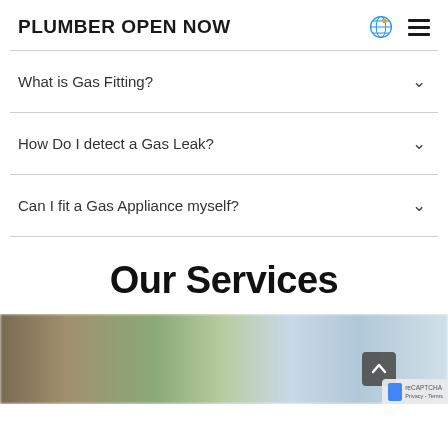PLUMBER OPEN NOW
What is Gas Fitting?
How Do I detect a Gas Leak?
Can I fit a Gas Appliance myself?
Our Services
[Figure (photo): Blurred outdoor street/garden scene with trees, used as a section background image. A scroll-to-top button and reCAPTCHA badge are overlaid.]